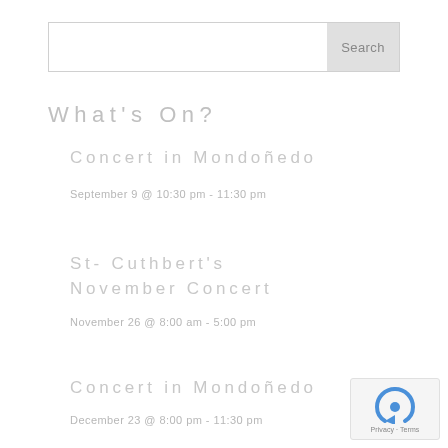[Figure (other): Search bar with input field and Search button]
What's On?
Concert in Mondoñedo
September 9 @ 10:30 pm - 11:30 pm
St- Cuthbert's November Concert
November 26 @ 8:00 am - 5:00 pm
Concert in Mondoñedo
December 23 @ 8:00 pm - 11:30 pm
[Figure (logo): reCAPTCHA badge with Privacy and Terms links]